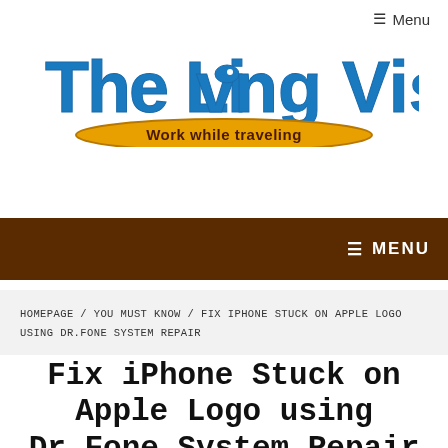Menu
[Figure (logo): The Living Vision logo with blue outlined text and yellow oval tagline reading 'Work while traveling']
MENU
HOMEPAGE / YOU MUST KNOW / FIX IPHONE STUCK ON APPLE LOGO USING DR.FONE SYSTEM REPAIR
Fix iPhone Stuck on Apple Logo using Dr.Fone System Repair